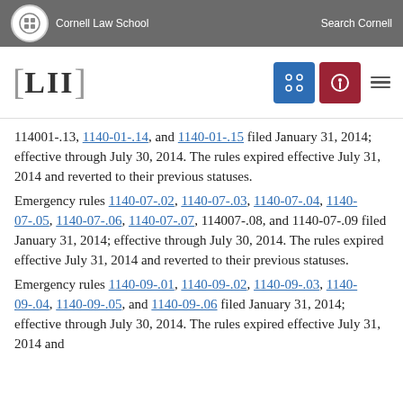Cornell Law School | Search Cornell
[Figure (logo): LII Legal Information Institute logo with navigation buttons]
114001-.13, 1140-01-.14, and 1140-01-.15 filed January 31, 2014; effective through July 30, 2014. The rules expired effective July 31, 2014 and reverted to their previous statuses.
Emergency rules 1140-07-.02, 1140-07-.03, 1140-07-.04, 1140-07-.05, 1140-07-.06, 1140-07-.07, 114007-.08, and 1140-07-.09 filed January 31, 2014; effective through July 30, 2014. The rules expired effective July 31, 2014 and reverted to their previous statuses.
Emergency rules 1140-09-.01, 1140-09-.02, 1140-09-.03, 1140-09-.04, 1140-09-.05, and 1140-09-.06 filed January 31, 2014; effective through July 30, 2014. The rules expired effective July 31, 2014 and